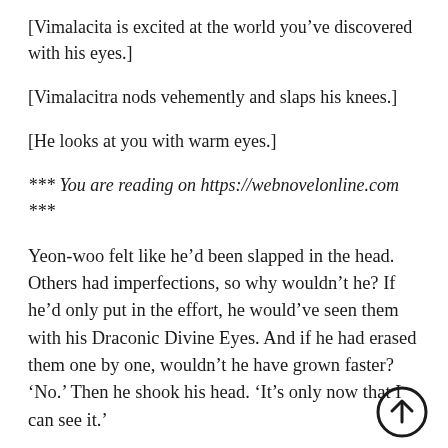[Vimalacita is excited at the world you’ve discovered with his eyes.]
[Vimalacitra nods vehemently and slaps his knees.]
[He looks at you with warm eyes.]
*** You are reading on https://webnovelonline.com ***
Yeon-woo felt like he’d been slapped in the head. Others had imperfections, so why wouldn’t he? If he’d only put in the effort, he would’ve seen them with his Draconic Divine Eyes. And if he had erased them one by one, wouldn’t he have grown faster? ‘No.’ Then he shook his head. ‘It’s only now that I can see it.’